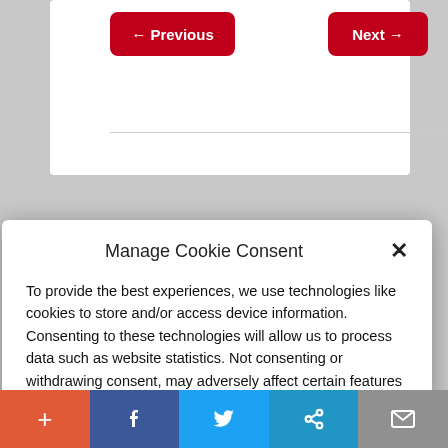← Previous   Next →
Manage Cookie Consent
To provide the best experiences, we use technologies like cookies to store and/or access device information. Consenting to these technologies will allow us to process data such as website statistics. Not consenting or withdrawing consent, may adversely affect certain features and functions.
Accept
Cookie Policy   Privacy Policy
Alternative to the Drudge
+ f twitter share mail